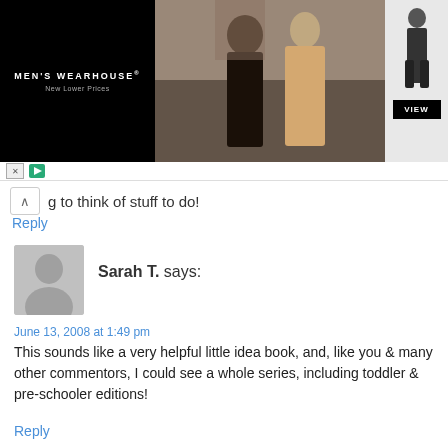[Figure (photo): Men's Wearhouse advertisement banner showing a couple in formal wear, a man in a suit model on the right, with a VIEW button and brand name.]
g to think of stuff to do!
Reply
Sarah T. says:
June 13, 2008 at 1:49 pm
This sounds like a very helpful little idea book, and, like you & many other commentors, I could see a whole series, including toddler & pre-schooler editions!
Reply